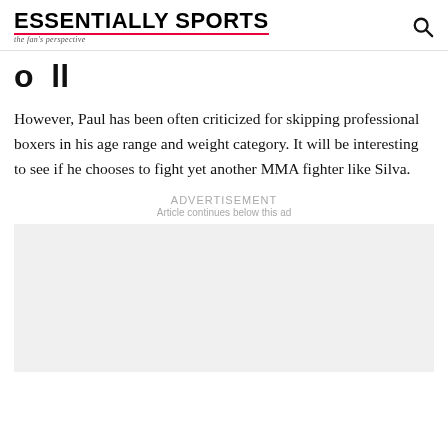ESSENTIALLY SPORTS — the fan's perspective
o  ll
However, Paul has been often criticized for skipping professional boxers in his age range and weight category. It will be interesting to see if he chooses to fight yet another MMA fighter like Silva.
ADVERTISEMENT
Article continues below this ad